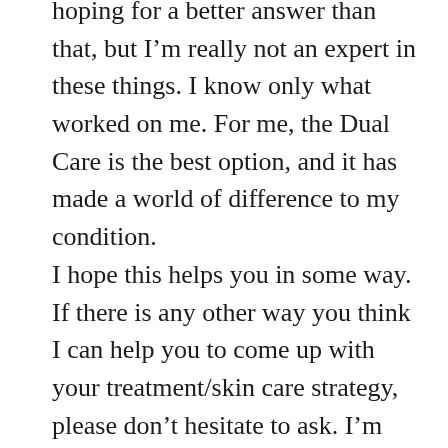hoping for a better answer than that, but I'm really not an expert in these things. I know only what worked on me. For me, the Dual Care is the best option, and it has made a world of difference to my condition. I hope this helps you in some way. If there is any other way you think I can help you to come up with your treatment/skin care strategy, please don't hesitate to ask. I'm always happy to answer questions as fully and honestly as I can! Wishing you the best,